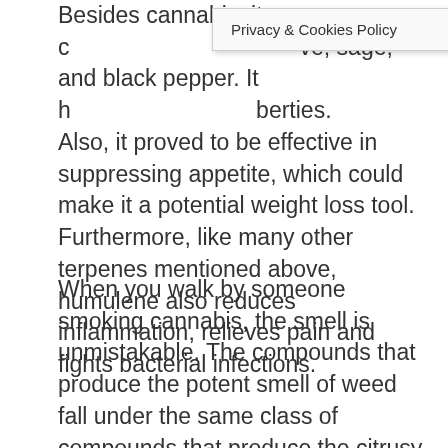Besides cannabis, it c… ve, sage, and black pepper. It h… berties. Also, it proved to be effective in suppressing appetite, which could make it a potential weight loss tool. Furthermore, like many other terpenes mentioned above, humulene also reduces inflammation, relieves pain and fights bacterial infections.
When you walk by someone smoking cannabis, the smell is unmistakable. The compounds that produce the potent smell of weed fall under the same class of compounds that produce the citrusy smell of oranges, the sweet smell of chamomile and the clean smell of pine. These compounds, called terpenes, serve important purposes in plants and possibly in humans, too. Research doesn't yet paint a clear picture about the roles that terpenes might play in humans, but the purported benefits range…